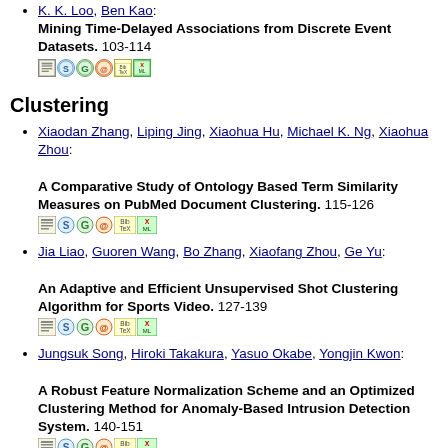K. K. Loo, Ben Kao: Mining Time-Delayed Associations from Discrete Event Datasets. 103-114
Clustering
Xiaodan Zhang, Liping Jing, Xiaohua Hu, Michael K. Ng, Xiaohua Zhou: A Comparative Study of Ontology Based Term Similarity Measures on PubMed Document Clustering. 115-126
Jia Liao, Guoren Wang, Bo Zhang, Xiaofang Zhou, Ge Yu: An Adaptive and Efficient Unsupervised Shot Clustering Algorithm for Sports Video. 127-139
Jungsuk Song, Hiroki Takakura, Yasuo Okabe, Yongjin Kwon: A Robust Feature Normalization Scheme and an Optimized Clustering Method for Anomaly-Based Intrusion Detection System. 140-151
Elke Achtert, Christian Böhm, Hans-Peter Kriegel, Peer ...